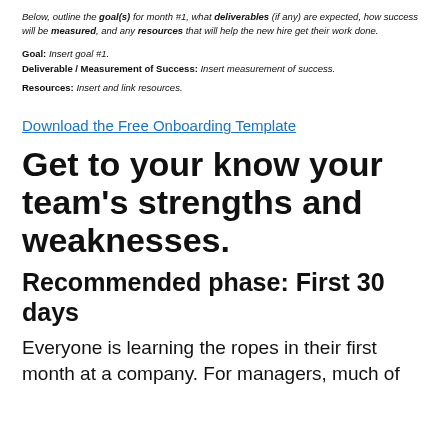Below, outline the goal(s) for month #1, what deliverables (if any) are expected, how success will be measured, and any resources that will help the new hire get their work done.
Goal: Insert goal #1.
Deliverable / Measurement of Success: Insert measurement of success.
Resources: Insert and link resources.
Download the Free Onboarding Template
Get to your know your team’s strengths and weaknesses.
Recommended phase: First 30 days
Everyone is learning the ropes in their first month at a company. For managers, much of